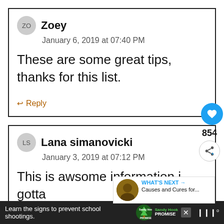Zoey
January 6, 2019 at 07:40 PM
These are some great tips, thanks for this list.
Reply
Lana simanovicki
January 3, 2019 at 07:12 PM
This is awsome information.i gotta out so remember these thing's
854
WHAT'S NEXT → Causes and Cures for...
Learn the signs to prevent school shootings.